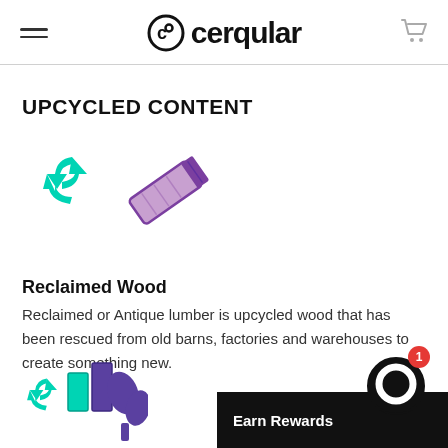cerqular
UPCYCLED CONTENT
[Figure (illustration): Teal recycling arrows icon and a purple/pink reclaimed wood plank icon]
Reclaimed Wood
Reclaimed or Antique lumber is upcycled wood that has been rescued from old barns, factories and warehouses to create something new.
[Figure (illustration): Teal recycling arrows icon with a purple tree/plant and teal rectangular panels icon]
Earn Rewards